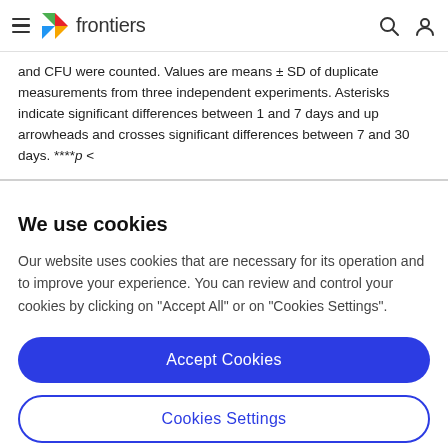frontiers
and CFU were counted. Values are means ± SD of duplicate measurements from three independent experiments. Asterisks indicate significant differences between 1 and 7 days and up arrowheads and crosses significant differences between 7 and 30 days. ****p <
We use cookies
Our website uses cookies that are necessary for its operation and to improve your experience. You can review and control your cookies by clicking on "Accept All" or on "Cookies Settings".
Accept Cookies
Cookies Settings